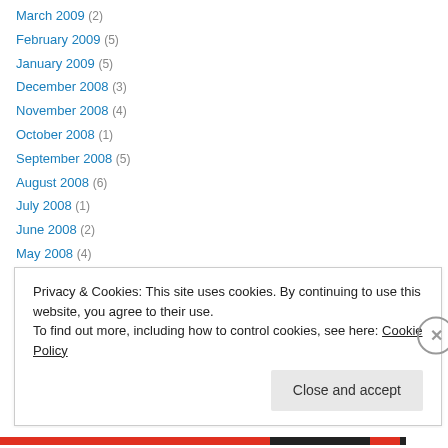March 2009 (2)
February 2009 (5)
January 2009 (5)
December 2008 (3)
November 2008 (4)
October 2008 (1)
September 2008 (5)
August 2008 (6)
July 2008 (1)
June 2008 (2)
May 2008 (4)
April 2008 (5)
March 2008 (3)
Privacy & Cookies: This site uses cookies. By continuing to use this website, you agree to their use. To find out more, including how to control cookies, see here: Cookie Policy